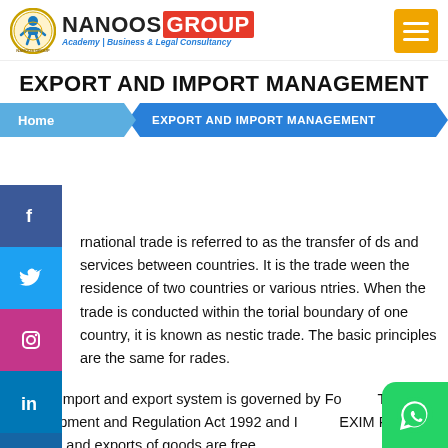[Figure (logo): Nanoos Group logo with circular emblem, bold NANOOS GROUP text (GROUP in red badge), and tagline 'Academy | Business & Legal Consultancy']
EXPORT AND IMPORT MANAGEMENT
Home > EXPORT AND IMPORT MANAGEMENT
International trade is referred to as the transfer of goods and services between countries. It is the trade between the residence of two countries or various countries. When the trade is conducted within the territorial boundary of one country, it is known as domestic trade. The basic principles are the same for all trades.
India's import and export system is governed by Foreign Trade Development and Regulation Act 1992 and India's EXIM Policy. Imports and exports of goods are free